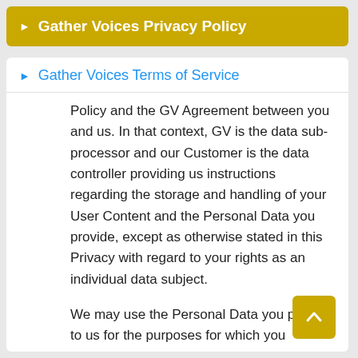Gather Voices Privacy Policy
Gather Voices Terms of Service
Policy and the GV Agreement between you and us. In that context, GV is the data sub-processor and our Customer is the data controller providing us instructions regarding the storage and handling of your User Content and the Personal Data you provide, except as otherwise stated in this Privacy with regard to your rights as an individual data subject.
We may use the Personal Data you provide to us for the purposes for which you provided it, and to subscribe our newsletters or other marketing communications, reply to your contact